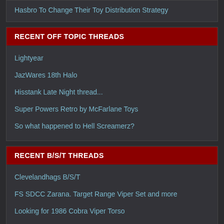Hasbro To Change Their Toy Distribution Strategy
RECENT OFF TOPIC THREADS
Lightyear
JazWares 18th Halo
Hisstank Late Night thread...
Super Powers Retro by McFarlane Toys
So what happened to Hell Screamerz?
RECENT B/S/T THREADS
Clevelandhags B/S/T
FS SDCC Zarana. Target Range Viper Set and more
Looking for 1986 Cobra Viper Torso
Custom, Fodder & Sealed Figures for Sale
Classified Cobra Officer $30
Modern Joe figures for sale
Dravenheart's Custom Figure Listings